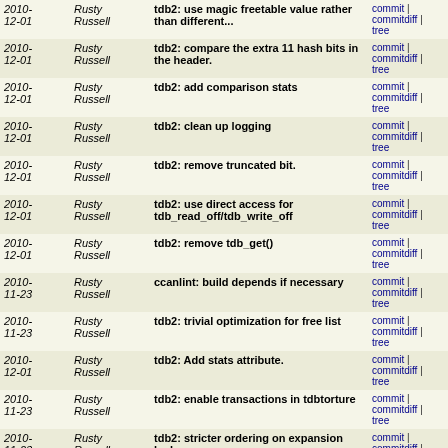| Date | Author | Message | Links |
| --- | --- | --- | --- |
| 2010-12-01 | Rusty Russell | tdb2: use magic freetable value rather than different... | commit | commitdiff | tree |
| 2010-12-01 | Rusty Russell | tdb2: compare the extra 11 hash bits in the header. | commit | commitdiff | tree |
| 2010-12-01 | Rusty Russell | tdb2: add comparison stats | commit | commitdiff | tree |
| 2010-12-01 | Rusty Russell | tdb2: clean up logging | commit | commitdiff | tree |
| 2010-12-01 | Rusty Russell | tdb2: remove truncated bit. | commit | commitdiff | tree |
| 2010-12-01 | Rusty Russell | tdb2: use direct access for tdb_read_off/tdb_write_off | commit | commitdiff | tree |
| 2010-12-01 | Rusty Russell | tdb2: remove tdb_get() | commit | commitdiff | tree |
| 2010-11-23 | Rusty Russell | ccanlint: build depends if necessary | commit | commitdiff | tree |
| 2010-11-23 | Rusty Russell | tdb2: trivial optimization for free list | commit | commitdiff | tree |
| 2010-12-01 | Rusty Russell | tdb2: Add stats attribute. | commit | commitdiff | tree |
| 2010-11-23 | Rusty Russell | tdb2: enable transactions in tdbtorture | commit | commitdiff | tree |
| 2010-11-23 | Rusty Russell | tdb2: stricter ordering on expansion lock | commit | commitdiff | tree |
| 2010-11-23 | Rusty Russell | tdb2: remove all the dead code | commit | commitdiff | tree |